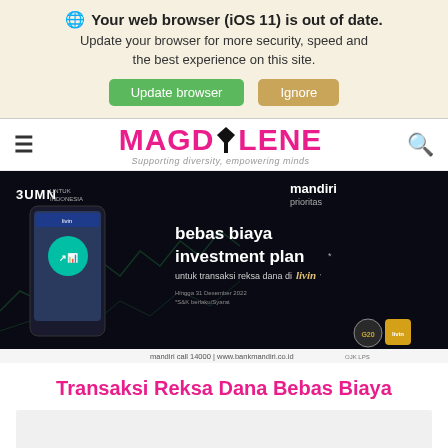🌐 Your web browser (iOS 11) is out of date. Update your browser for more security, speed and the best experience on this site.
[Figure (screenshot): Browser update warning banner with 'Update browser' green button and 'Ignore' tan/gold button]
MAGDOLENE — Supporting diversity, empowering minds
[Figure (infographic): Mandiri Prioritas bank advertisement showing a smartphone with investment app, BUMN logo, mandiri prioritas logo, text 'bebas biaya investment plan untuk transaksi reksa dana di livin', G20 logo. Caption: mandiri call 14000 | www.bankmandiri.co.id]
Transaksi Reksa Dana Bebas Biaya